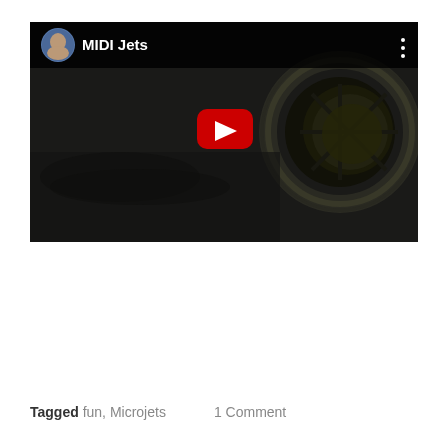[Figure (screenshot): YouTube video embed showing 'MIDI Jets' channel with a dark thumbnail of a jet engine, featuring a red play button overlay and channel avatar with the name 'MIDI Jets' in the header]
Tagged fun, Microjets    1 Comment